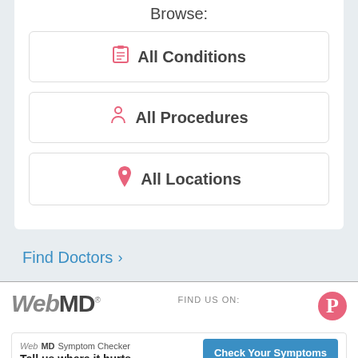Browse:
All Conditions
All Procedures
All Locations
Find Doctors >
[Figure (logo): WebMD logo]
FIND US ON:
[Figure (logo): Pinterest icon (pink P)]
[Figure (screenshot): WebMD Symptom Checker ad banner: 'Tell us where it hurts.' with 'Check Your Symptoms' button]
ADVERTISEMENT